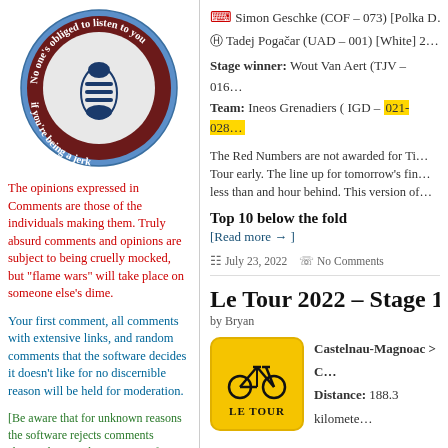[Figure (logo): Circular stamp logo with boot print in center and text around the border: 'No one's obliged to listen to you if you're being a jerk']
The opinions expressed in Comments are those of the individuals making them. Truly absurd comments and opinions are subject to being cruelly mocked, but "flame wars" will take place on someone else's dime.
Your first comment, all comments with extensive links, and random comments that the software decides it doesn't like for no discernible reason will be held for moderation.
[Be aware that for unknown reasons the software rejects comments shorter than 15 characters, so if you want to leave a short comment fill the gap with periods ........]
🎯 Simon Geschke (COF – 073) [Polka D…
🏆 Tadej Pogačar (UAD – 001) [White] 2…
Stage winner: Wout Van Aert (TJV – 016…
Team: Ineos Grenadiers ( IGD – 021-028…
The Red Numbers are not awarded for Ti… Tour early. The line up for tomorrow's fin… less than and hour behind. This version of…
Top 10 below the fold
[Read more →]
📅 July 23, 2022  💬 No Comments
Le Tour 2022 – Stage 19
by Bryan
[Figure (logo): Le Tour yellow bicycle badge/logo]
Castelnau-Magnoac > C…
Distance: 188.3 kilomete…